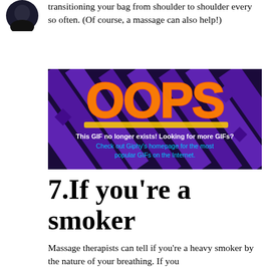[Figure (photo): Circular avatar image, dark silhouette on dark background, top-left corner]
transitioning your bag from shoulder to shoulder every so often. (Of course, a massage can also help!)
[Figure (screenshot): OOPS error image from Giphy - dark purple background with geometric shapes, large orange graffiti text 'OOPS', white text 'This GIF no longer exists! Looking for more GIFs?' and cyan/blue text 'Check out Giphy's homepage for the most popular GIFs on the Internet.']
7.If you're a smoker
Massage therapists can tell if you're a heavy smoker by the nature of your breathing. If you